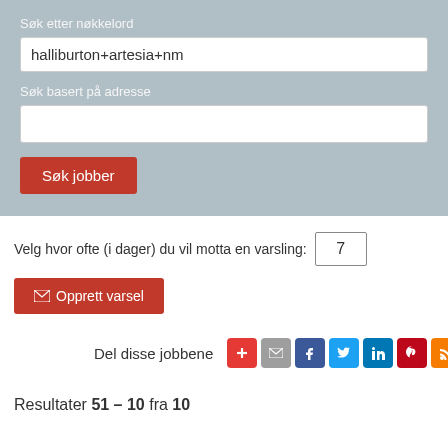Søk etter nøkkelord
halliburton+artesia+nm
Søk basert på adresse
Søk jobber
Velg hvor ofte (i dager) du vil motta en varsling: 7
✉ Opprett varsel
Del disse jobbene
Resultater 51 – 10 fra 10